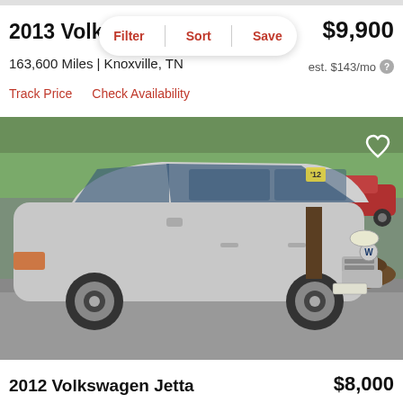2013 Volkswagen Jetta
$9,900
163,600 Miles | Knoxville, TN
est. $143/mo
Track Price   Check Availability
[Figure (photo): Silver 2013 Volkswagen Jetta SportWagen parked in a lot, front three-quarter view. Green trees and a red car visible in background. Heart/favorite icon in top right corner.]
2012 Volkswagen Jetta
$8,000